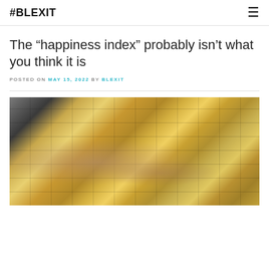#BLEXIT
The “happiness index” probably isn’t what you think it is
POSTED ON MAY 15, 2022 BY BLEXIT
[Figure (photo): Hands arranging rows of gold bars on a metallic surface]